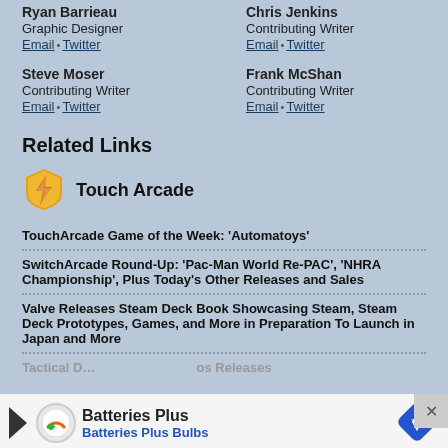Ryan Barrieau
Graphic Designer
Email • Twitter
Chris Jenkins
Contributing Writer
Email • Twitter
Steve Moser
Contributing Writer
Email • Twitter
Frank McShan
Contributing Writer
Email • Twitter
Related Links
[Figure (logo): Touch Arcade app icon logo — gold shield with lightning bolt]
Touch Arcade
TouchArcade Game of the Week: 'Automatoys'
SwitchArcade Round-Up: 'Pac-Man World Re-PAC', 'NHRA Championship', Plus Today's Other Releases and Sales
Valve Releases Steam Deck Book Showcasing Steam, Steam Deck Prototypes, Games, and More in Preparation To Launch in Japan and More
Tactical D… os Releases